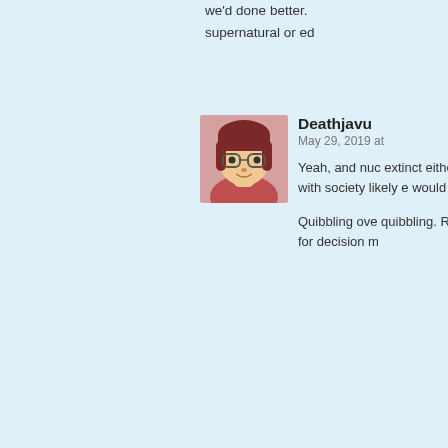we'd done better. supernatural or ed
[Figure (illustration): Avatar of user Deathjavu: cartoon illustration of a woman with red/brown hair and glasses, wearing a pink patterned shirt]
Deathjavu
May 29, 2019 at
Yeah, and nuc extinct either, farmlands with society likely e would sugges
Quibbling ove quibbling. Rat doomsday be for decision m
[Figure (illustration): Avatar of user Tawdry Quirks: cartoon illustration of a small brown cat/kitten character standing upright, appearing distressed]
Tawdry Quirks
May 29, 2019 at 1:58
But there's still a d give us at least a someone who wa onto the fire. I cho
But I'm certainly p children, because that are unlikely to make it to adultho